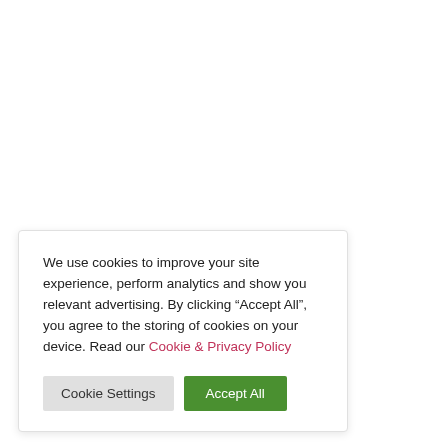We use cookies to improve your site experience, perform analytics and show you relevant advertising. By clicking “Accept All”, you agree to the storing of cookies on your device. Read our Cookie & Privacy Policy
Cookie Settings
Accept All